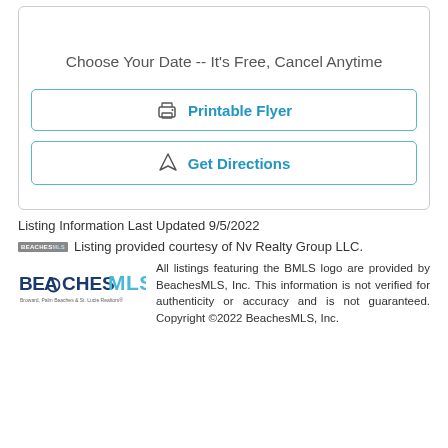Choose Your Date -- It's Free, Cancel Anytime
Printable Flyer
Get Directions
Listing Information Last Updated 9/5/2022
Listing provided courtesy of Nv Realty Group LLC.
All listings featuring the BMLS logo are provided by BeachesMLS, Inc. This information is not verified for authenticity or accuracy and is not guaranteed. Copyright ©2022 BeachesMLS, Inc.